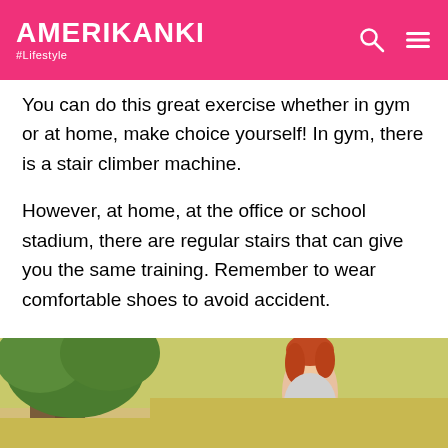AMERIKANKI #Lifestyle
You can do this great exercise whether in gym or at home, make choice yourself! In gym, there is a stair climber machine.
However, at home, at the office or school stadium, there are regular stairs that can give you the same training. Remember to wear comfortable shoes to avoid accident.
6. Knee circles
[Figure (photo): Woman outdoors near a tree, red/auburn hair, fitness/lifestyle context]